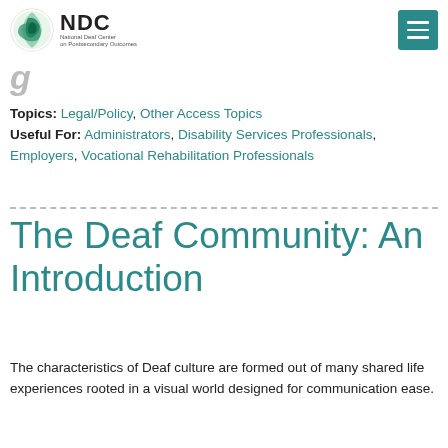NDC National Deaf Center on Postsecondary Outcomes
Topics: Legal/Policy, Other Access Topics
Useful For: Administrators, Disability Services Professionals, Employers, Vocational Rehabilitation Professionals
The Deaf Community: An Introduction
The characteristics of Deaf culture are formed out of many shared life experiences rooted in a visual world designed for communication ease.